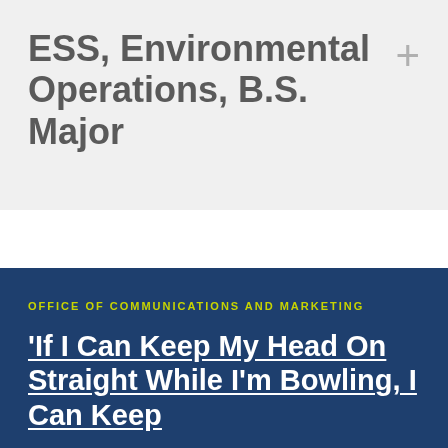ESS, Environmental Operations, B.S. Major
OFFICE OF COMMUNICATIONS AND MARKETING
‘If I Can Keep My Head On Straight While I’m Bowling, I Can Keep